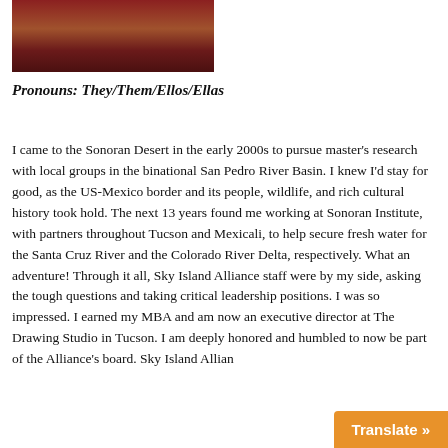[Figure (photo): Partial photo of a person wearing a red dress, cropped at top of page]
Pronouns: They/Them/Ellos/Ellas
I came to the Sonoran Desert in the early 2000s to pursue master’s research with local groups in the binational San Pedro River Basin. I knew I’d stay for good, as the US-Mexico border and its people, wildlife, and rich cultural history took hold. The next 13 years found me working at Sonoran Institute, with partners throughout Tucson and Mexicali, to help secure fresh water for the Santa Cruz River and the Colorado River Delta, respectively. What an adventure! Through it all, Sky Island Alliance staff were by my side, asking the tough questions and taking critical leadership positions. I was so impressed. I earned my MBA and am now an executive director at The Drawing Studio in Tucson. I am deeply honored and humbled to now be part of the Alliance’s board. Sky Island Allian…